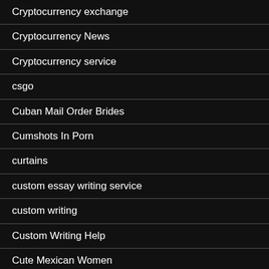Cryptocurrency exchange
Cryptocurrency News
Cryptocurrency service
csgo
Cuban Mail Order Brides
Cumshots In Porn
curtains
custom essay writing service
custom writing
Custom Writing Help
Cute Mexican Women
cute russian girls